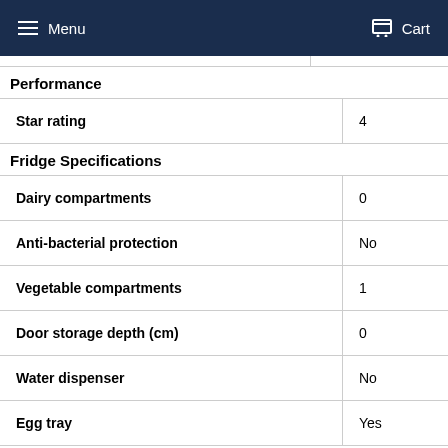Menu  Cart
Performance
|  |  |
| --- | --- |
| Star rating | 4 |
Fridge Specifications
|  |  |
| --- | --- |
| Dairy compartments | 0 |
| Anti-bacterial protection | No |
| Vegetable compartments | 1 |
| Door storage depth (cm) | 0 |
| Water dispenser | No |
| Egg tray | Yes |